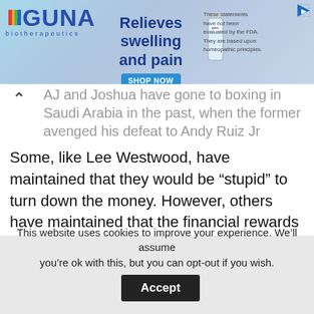[Figure (other): GUNA biotherapeutics advertisement banner. Shows GUNA logo with rainbow stripe, product bottle, text 'Relieves swelling and pain', 'SHOP NOW' button, and disclaimer 'These statements have not been evaluated by the FDA. They are based upon homeopathic principles.']
AJ and Joshua have gone to boxing in Saudi Arabia in the past, when the former avenged his defeat to Andy Ruiz Jr
Some, like Lee Westwood, have maintained that they would be “stupid” to turn down the money. However, others have maintained that the financial rewards did not encourage them to compete.
This website uses cookies to improve your experience. We’ll assume you’re ok with this, but you can opt-out if you wish. Accept Read More